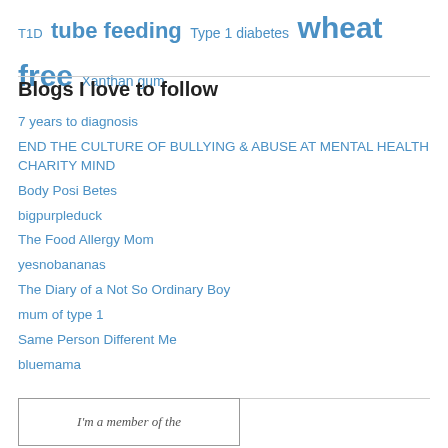T1D  tube feeding  Type 1 diabetes  wheat free  Xanthan gum
Blogs I love to follow
7 years to diagnosis
END THE CULTURE OF BULLYING & ABUSE AT MENTAL HEALTH CHARITY MIND
Body Posi Betes
bigpurpleduck
The Food Allergy Mom
yesnobananas
The Diary of a Not So Ordinary Boy
mum of type 1
Same Person Different Me
bluemama
[Figure (other): Badge or membership logo with italic text: I'm a member of the]